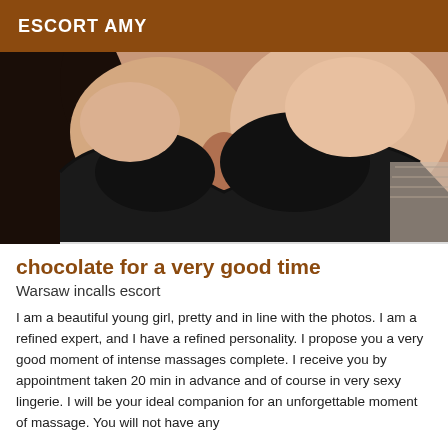ESCORT AMY
[Figure (photo): Close-up photo of a woman wearing a black bra, showing her chest and shoulders, with dark hair visible on the left side.]
chocolate for a very good time
Warsaw incalls escort
I am a beautiful young girl, pretty and in line with the photos. I am a refined expert, and I have a refined personality. I propose you a very good moment of intense massages complete. I receive you by appointment taken 20 min in advance and of course in very sexy lingerie. I will be your ideal companion for an unforgettable moment of massage. You will not have any